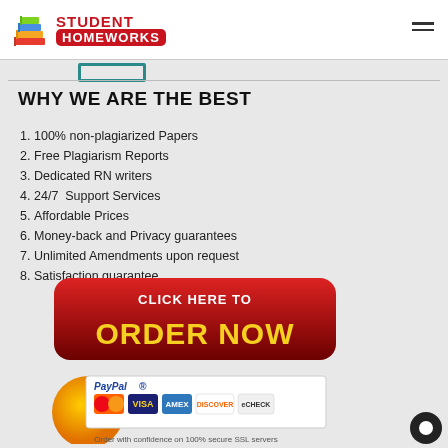STUDENT HOMEWORKS
WHY WE ARE THE BEST
100% non-plagiarized Papers
Free Plagiarism Reports
Dedicated RN writers
24/7  Support Services
Affordable Prices
Money-back and Privacy guarantees
Unlimited Amendments upon request
Satisfaction guarantee
[Figure (illustration): Red rounded button with 'Click Here To ORDER NOW' text in white and yellow, with an orange arrow beneath, above PayPal payment logos including MasterCard, Visa, AMEX, Discover, eCheck, and text 'Order with confidence on 100% secure SSL servers']